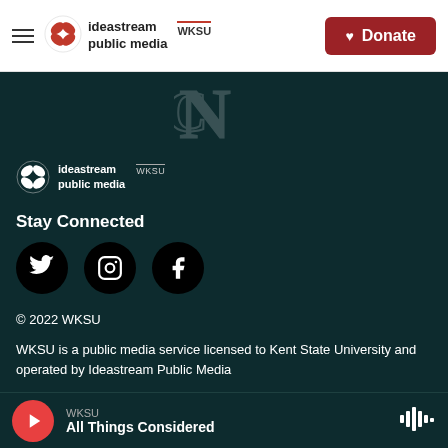[Figure (logo): Ideastream Public Media WKSU logo in header with hamburger menu and red Donate button]
[Figure (logo): Ideastream Public Media WKSU logo watermark in dark background section]
[Figure (logo): Ideastream Public Media WKSU white logo in footer section]
Stay Connected
[Figure (infographic): Three social media icons: Twitter (bird), Instagram (camera), Facebook (f) in black circles]
© 2022 WKSU
WKSU is a public media service licensed to Kent State University and operated by Ideastream Public Media
Contest and Drawing Rules
WKSU
All Things Considered